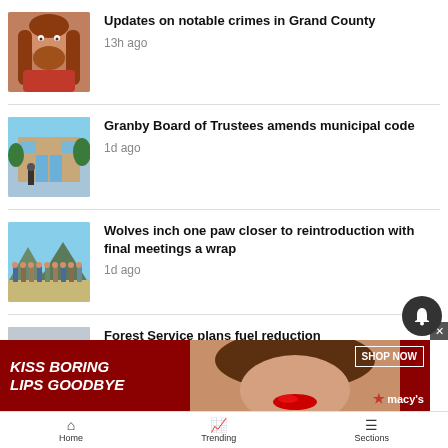[Figure (photo): Man with long red hair and beard wearing a red shirt]
Updates on notable crimes in Grand County
13h ago
[Figure (photo): Building with blue glass doors and trees outside]
Granby Board of Trustees amends municipal code
1d ago
[Figure (photo): Group of people standing outdoors in a field]
Wolves inch one paw closer to reintroduction with final meetings a wrap
1d ago
[Figure (photo): Outdoor landscape scene]
Forest Service plans fuel reduction
2d ago
[Figure (advertisement): Macy's ad: KISS BORING LIPS GOODBYE with SHOP NOW button and woman's face with red lips]
Home   Trending   Sections